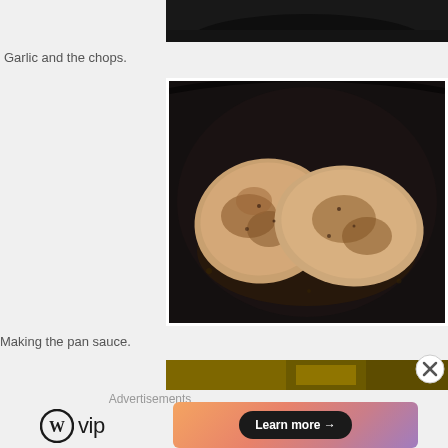[Figure (photo): Top portion of a dark pan/skillet visible at the top of the page, cropped]
Garlic and the chops.
[Figure (photo): Two seasoned pork chops searing in a dark cast iron skillet with oil/sauce]
Making the pan sauce.
[Figure (photo): Partial view of another food image, cropped at bottom with close/X button overlay]
Advertisements
[Figure (logo): WordPress VIP logo — circular W icon followed by 'vip' text]
[Figure (other): Advertisement banner with gradient pink/orange background and 'Learn more →' button]